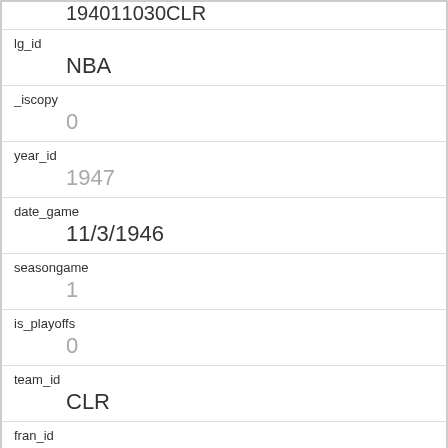194011030CLR
lg_id
NBA
_iscopy
0
year_id
1947
date_game
11/3/1946
seasongame
1
is_playoffs
0
team_id
CLR
fran_id
Rebels
pts
71
elo_i
1300.0